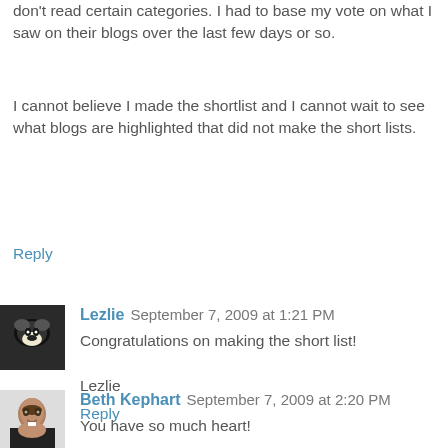don't read certain categories. I had to base my vote on what I saw on their blogs over the last few days or so.
I cannot believe I made the shortlist and I cannot wait to see what blogs are highlighted that did not make the short lists.
Reply
Lezlie  September 7, 2009 at 1:21 PM
Congratulations on making the short list!

Lezlie
Reply
Beth Kephart  September 7, 2009 at 2:20 PM
You have so much heart!

And that is one of the many reasons we all love you.
Reply